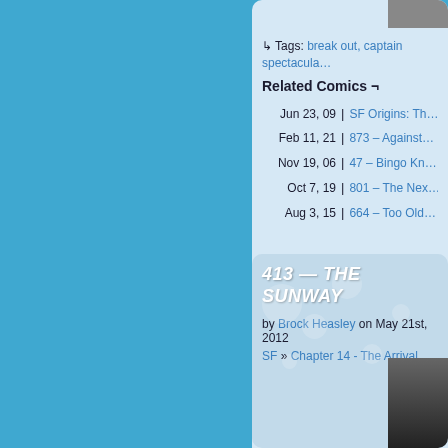↳ Tags: break out, captain spectacular
Related Comics ¬
Jun 23, 09 | SF Origins: Th…
Feb 11, 21 | 873 – Against…
Nov 19, 06 | 47 – Bingo Kn…
Oct 7, 19 | 801 – The Nex…
Aug 3, 15 | 664 – Too Old…
413 — THE SUNWAY
by Brock Heasley on May 21st, 2012
SF » Chapter 14 - The Arrival
[Figure (photo): Thumbnail photo at bottom right of second card]